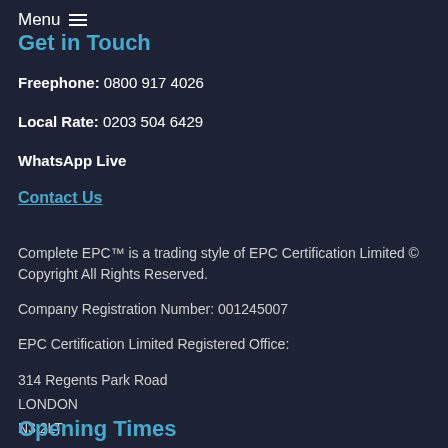Menu ☰
Get in Touch
Freephone: 0800 917 4026
Local Rate: 0203 504 6429
WhatsApp Live
Contact Us
Complete EPC™ is a trading style of EPC Certification Limited © Copyright All Rights Reserved.
Company Registration Number: 001245007
EPC Certification Limited Registered Office:
314 Regents Park Road
LONDON
N3 2LT
Opening Times